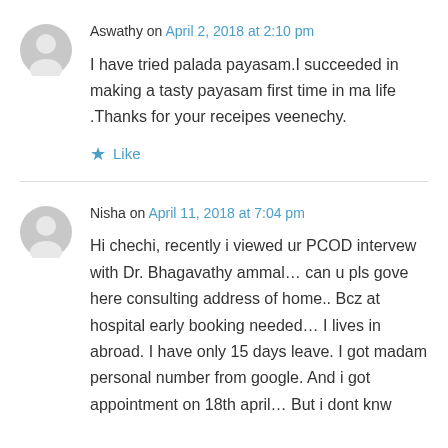Aswathy on April 2, 2018 at 2:10 pm
I have tried palada payasam.I succeeded in making a tasty payasam first time in ma life .Thanks for your receipes veenechy.
Like
Nisha on April 11, 2018 at 7:04 pm
Hi chechi, recently i viewed ur PCOD intervew with Dr. Bhagavathy ammal… can u pls gove here consulting address of home.. Bcz at hospital early booking needed… I lives in abroad. I have only 15 days leave. I got madam personal number from google. And i got appointment on 18th april… But i dont knw